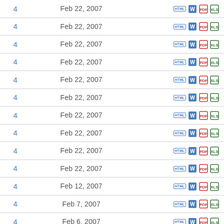| Pages | Date | Formats |
| --- | --- | --- |
| 4 | Feb 22, 2007 | HTML W PDF XLS |
| 4 | Feb 22, 2007 | HTML W PDF XLS |
| 4 | Feb 22, 2007 | HTML W PDF XLS |
| 4 | Feb 22, 2007 | HTML W PDF XLS |
| 4 | Feb 22, 2007 | HTML W PDF XLS |
| 4 | Feb 22, 2007 | HTML W PDF XLS |
| 4 | Feb 22, 2007 | HTML W PDF XLS |
| 4 | Feb 22, 2007 | HTML W PDF XLS |
| 4 | Feb 22, 2007 | HTML W PDF XLS |
| 4 | Feb 22, 2007 | HTML W PDF XLS |
| 4 | Feb 12, 2007 | HTML W PDF XLS |
| 4 | Feb 7, 2007 | HTML W PDF XLS |
| 4 | Feb 6, 2007 | HTML W PDF XLS |
| 4 | Feb 2, 2007 | HTML W PDF XLS |